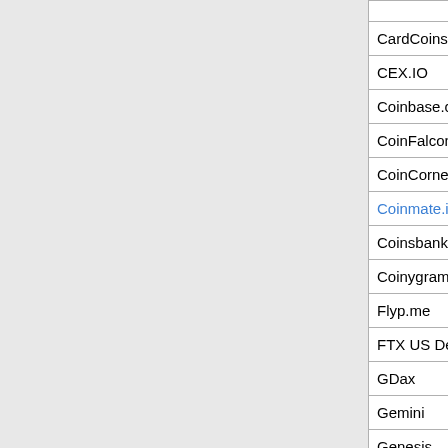| Exchange | KYC/AML | Details |
| --- | --- | --- |
| CardCoins.co | Yes | No dep |
| CEX.IO | No |  |
| Coinbase.com | Yes |  |
| CoinFalcon | Yes |  |
| CoinCorner | Yes |  |
| Coinmate.io | Yes |  |
| Coinsbank.com | Yes |  |
| Coinygram | Yes |  |
| Flyp.me | Yes |  |
| FTX US Derivatives | Yes |  |
| GDax | Yes |  |
| Gemini | Yes |  |
| Genesis | ?? |  |
| Globitex | No |  |